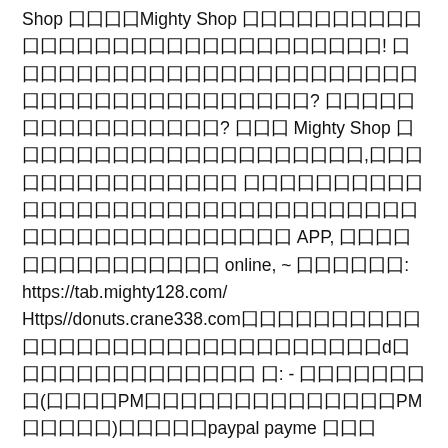Shop 囗囗囗囗Mighty Shop 囗囗囗囗囗囗囗囗囗囗囗囗囗囗囗囗囗囗囗囗囗囗囗囗囗囗囗囗囗囗! 囗囗囗囗囗囗囗囗囗囗囗囗囗囗囗囗囗囗囗囗囗囗囗囗囗囗囗囗囗囗囗囗囗囗囗囗囗囗囗? 囗囗囗囗囗囗囗囗囗囗囗囗囗囗囗囗? 囗囗囗 Mighty Shop 囗囗囗囗囗囗囗囗囗囗囗囗囗囗囗囗囗囗囗囗,囗囗囗囗囗囗囗囗囗囗囗囗囗囗囗 囗囗囗囗囗囗囗囗囗囗囗囗囗囗囗囗囗囗囗囗囗囗囗囗囗囗囗囗囗囗囗囗囗囗囗囗囗囗囗囗囗囗囗囗囗囗囗 APP, 囗囗囗囗囗囗囗囗囗囗囗囗囗囗囗 online, ~ 囗囗囗囗囗囗: https://tab.mighty128.com/ Https//donuts.crane338.com囗囗囗囗囗囗囗囗囗囗囗囗囗囗囗囗囗囗囗囗囗囗囗囗囗囗囗囗囗囗d囗囗囗囗囗囗囗囗囗囗囗囗囗囗 囗: - 囗囗囗囗囗囗囗囗(囗囗囗囗PM囗囗囗囗囗囗囗囗囗囗囗囗PM囗囗囗囗囗)囗囗囗囗囗paypal payme 囗囗囗 TNG(wallet HK)囗囗囗囗 BTC ETH STELLAR USDC USDT DCR - 囗囗囗囗囗囗囗囗HKD100 - 囗囗囗囗囗囗囗 - 囗囗囗囗囗囗囗囗囗囗囗囗囗囗囗囗囗囗囗囗囗囗囗囗囗囗囗囗囗囗$100囗囗囗囗囗囗囗囗囗囗囗囗囗囗囗囗囗囗 囗囗囗囗囗囗囗囗囗囗囗囗囗囗囗囗囗囗囗囗囗囗囗囗囗囗囗囗囗囗囗囗囗囗囗囗囗囗囗囗囗囗囗囗.whatsapp cantact https://wa.me/85259386279 View more posts